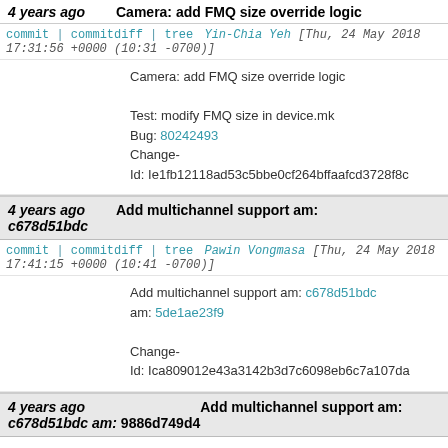4 years ago   Camera: add FMQ size override logic
commit | commitdiff | tree   Yin-Chia Yeh [Thu, 24 May 2018 17:31:56 +0000 (10:31 -0700)]
Camera: add FMQ size override logic

Test: modify FMQ size in device.mk
Bug: 80242493
Change-Id: Ie1fb12118ad53c5bbe0cf264bffaafcd3728f8c
4 years ago   Add multichannel support am:
c678d51bdc
commit | commitdiff | tree   Pawin Vongmasa [Thu, 24 May 2018 17:41:15 +0000 (10:41 -0700)]
Add multichannel support am: c678d51bdc
am: 5de1ae23f9

Change-Id: Ica809012e43a3142b3d7c6098eb6c7a107da
4 years ago   Add multichannel support am:
c678d51bdc am: 9886d749d4